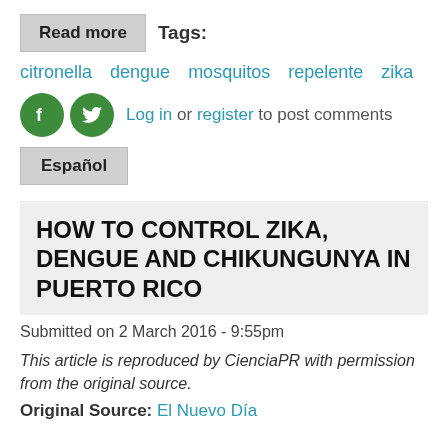Read more   Tags:
citronella   dengue   mosquitos   repelente   zika
Log in or register to post comments
Español
HOW TO CONTROL ZIKA, DENGUE AND CHIKUNGUNYA IN PUERTO RICO
Submitted on 2 March 2016 - 9:55pm
This article is reproduced by CienciaPR with permission from the original source.
Original Source: El Nuevo Día